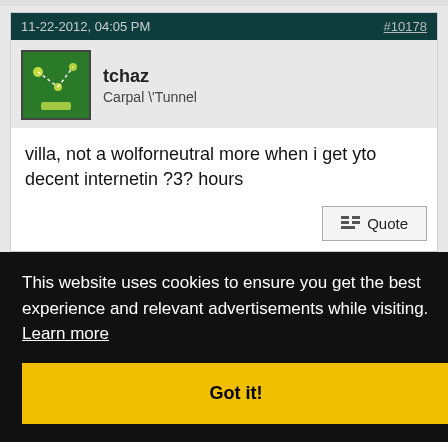11-22-2012, 04:05 PM
#10178
tchaz
Carpal \'Tunnel
villa, not a wolforneutral more when i get yto decent internetin ?3? hours
#10179
This website uses cookies to ensure you get the best experience and relevant advertisements while visiting.  Learn more
Got it!
More than half of my posts in this thread have been phone